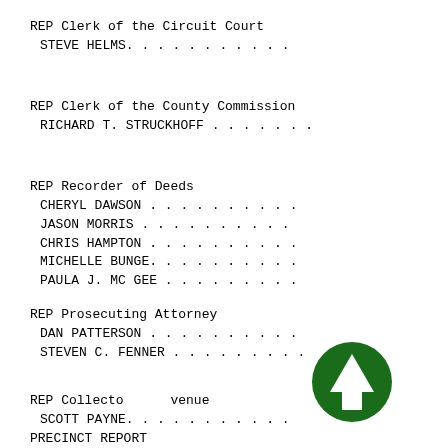REP Clerk of the Circuit Court
 STEVE HELMS. . . . . . . . . . .
REP Clerk of the County Commission
 RICHARD T. STRUCKHOFF . . . . . . .
REP Recorder of Deeds
 CHERYL DAWSON . . . . . . . . . .
 JASON MORRIS . . . . . . . . . .
 CHRIS HAMPTON . . . . . . . . . .
 MICHELLE BUNGE. . . . . . . . . .
 PAULA J. MC GEE . . . . . . . . .
REP Prosecuting Attorney
 DAN PATTERSON . . . . . . . . . .
 STEVEN C. FENNER . . . . . . . . .
REP Collector of Revenue
 SCOTT PAYNE. . . . . . . . . . .
PRECINCT REPORT